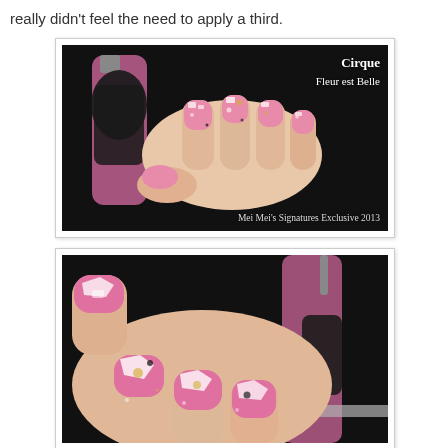really didn't feel the need to apply a third.
[Figure (photo): Close-up photo of a hand holding a pink glitter nail polish bottle (Cirque - Fleur est Belle), nails painted pink with glitter. Watermark: 'Cirque / Fleur est Belle' top right, 'Mei Mei's Signatures Exclusive 2013' bottom right. Dark/black background.]
[Figure (photo): Close-up macro photo of the same hand holding the same pink glitter nail polish bottle (Cirque - Fleur est Belle), showing nails painted pink with large silver/gold glitter pieces. Dark background.]